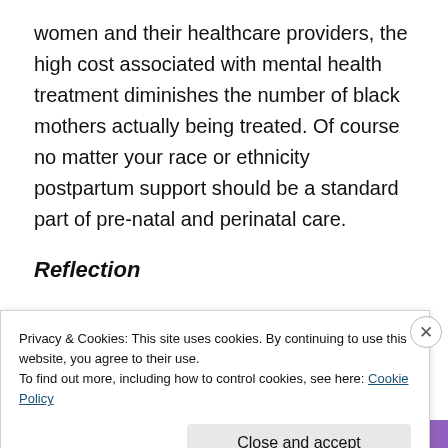women and their healthcare providers, the high cost associated with mental health treatment diminishes the number of black mothers actually being treated. Of course no matter your race or ethnicity postpartum support should be a standard part of pre-natal and perinatal care.
Reflection
2.5 years ago I would've never imagined being
Privacy & Cookies: This site uses cookies. By continuing to use this website, you agree to their use.
To find out more, including how to control cookies, see here: Cookie Policy